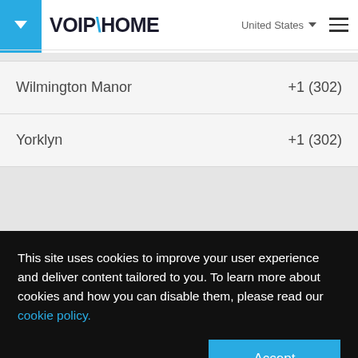VOIP\HOME  United States  ≡
| Location | Phone Code |
| --- | --- |
| Wilmington Manor | +1 (302) |
| Yorklyn | +1 (302) |
This site uses cookies to improve your user experience and deliver content tailored to you. To learn more about cookies and how you can disable them, please read our cookie policy.